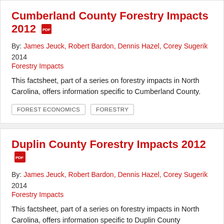Cumberland County Forestry Impacts 2012
By: James Jeuck, Robert Bardon, Dennis Hazel, Corey Sugerik
2014
Forestry Impacts
This factsheet, part of a series on forestry impacts in North Carolina, offers information specific to Cumberland County.
FOREST ECONOMICS
FORESTRY
Duplin County Forestry Impacts 2012
By: James Jeuck, Robert Bardon, Dennis Hazel, Corey Sugerik
2014
Forestry Impacts
This factsheet, part of a series on forestry impacts in North Carolina, offers information specific to Duplin County
FOREST ECONOMICS
FORESTRY